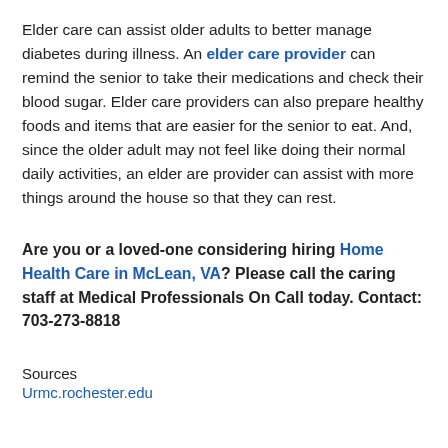Elder care can assist older adults to better manage diabetes during illness. An elder care provider can remind the senior to take their medications and check their blood sugar. Elder care providers can also prepare healthy foods and items that are easier for the senior to eat. And, since the older adult may not feel like doing their normal daily activities, an elder are provider can assist with more things around the house so that they can rest.
Are you or a loved-one considering hiring Home Health Care in McLean, VA? Please call the caring staff at Medical Professionals On Call today. Contact: 703-273-8818
Sources
Urmc.rochester.edu